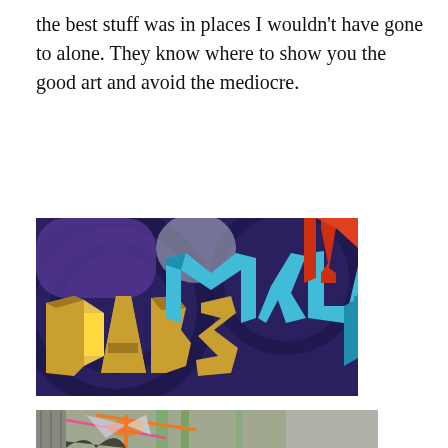the best stuff was in places I wouldn't have gone to alone. They know where to show you the good art and avoid the mediocre.
[Figure (photo): Street art mural featuring large 3D block letters spelling 'DABS' in yellow/gold and 'MYLA' in cyan/teal, with 'IN' in orange partially visible at top right, against a deep purple/blue background with spider-web-like patterns.]
[Figure (photo): Partial view of street art or mural showing a colorful insect or dragonfly figure in orange, pink and other colors against a concrete wall with green and grey tones and dripping paint effects.]